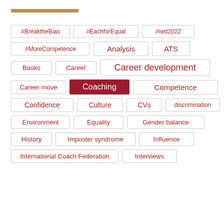#BreaktheBias
#EachforEqual
#iwd2022
#MoreCompetence
Analysis
ATS
Books
Career
Career development
Career move
Coaching
Competence
Confidence
Culture
CVs
discrimination
Environment
Equality
Gender balance
History
Imposter syndrome
Influence
International Coach Federation
Interviews